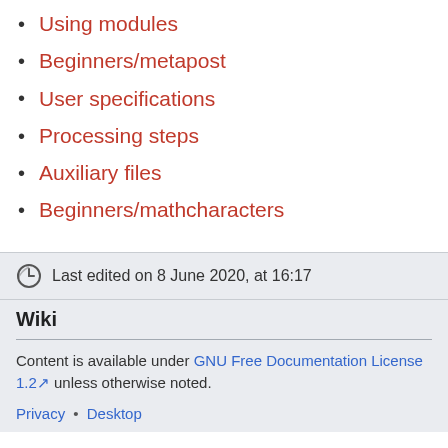Using modules
Beginners/metapost
User specifications
Processing steps
Auxiliary files
Beginners/mathcharacters
Last edited on 8 June 2020, at 16:17
Wiki
Content is available under GNU Free Documentation License 1.2 unless otherwise noted.
Privacy • Desktop